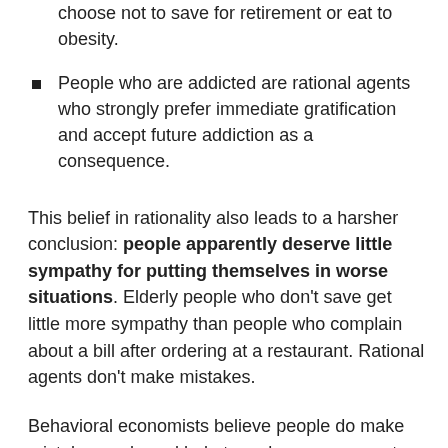choose not to save for retirement or eat to obesity.
People who are addicted are rational agents who strongly prefer immediate gratification and accept future addiction as a consequence.
This belief in rationality also leads to a harsher conclusion: people apparently deserve little sympathy for putting themselves in worse situations. Elderly people who don't save get little more sympathy than people who complain about a bill after ordering at a restaurant. Rational agents don't make mistakes.
Behavioral economists believe people do make mistakes and need help to make more accurate judgments. They believe freedom is a virtue worth having, but it has a cost borne by individuals who make bad choices (that are not completely their fault) and by a society that feels obligated to help them.